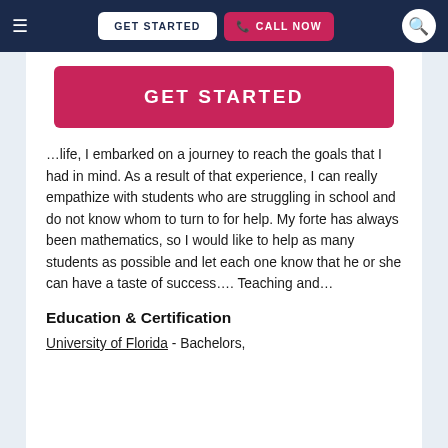≡  GET STARTED  📞 CALL NOW  🔍
GET STARTED
…life, I embarked on a journey to reach the goals that I had in mind. As a result of that experience, I can really empathize with students who are struggling in school and do not know whom to turn to for help. My forte has always been mathematics, so I would like to help as many students as possible and let each one know that he or she can have a taste of success…. Teaching and…
Education & Certification
University of Florida - Bachelors, Mathematics